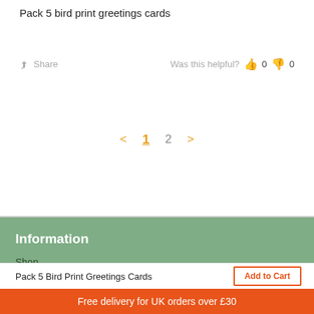Pack 5 bird print greetings cards
Share   Was this helpful?   👍 0   👎 0
< 1 2 >
Information
Shop
About
Sustainability + Conservation
Press
Shipping
FAQ
Pack 5 Bird Print Greetings Cards
Free delivery for UK orders over £30